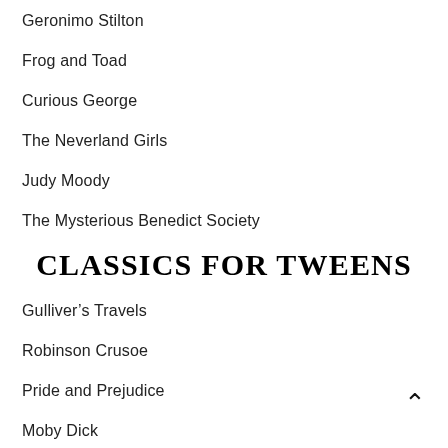Geronimo Stilton
Frog and Toad
Curious George
The Neverland Girls
Judy Moody
The Mysterious Benedict Society
CLASSICS FOR TWEENS
Gulliver’s Travels
Robinson Crusoe
Pride and Prejudice
Moby Dick